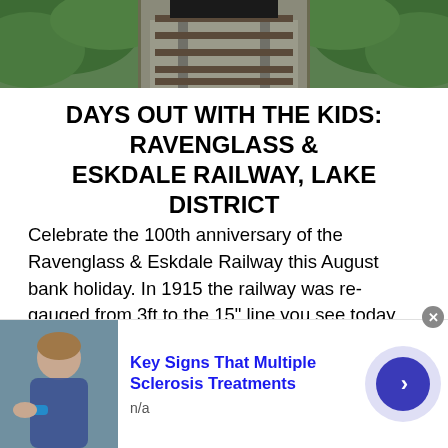[Figure (photo): Top portion of a photo showing green vegetation/bushes along a railway track with gravel ballast, viewed from above/behind a locomotive]
DAYS OUT WITH THE KIDS: RAVENGLASS & ESKDALE RAILWAY, LAKE DISTRICT
Celebrate the 100th anniversary of the Ravenglass & Eskdale Railway this August bank holiday. In 1915 the railway was re-gauged from 3ft to the 15" line you see today. Book in advance to guarantee your place on one of their special double-headed trains. Over the course of the weekend there is lots going on, including visiting engines such as Count Louis (Evesham Vale Railway), Lydia (Perrygrove Railway), Britannia (Conwy Railway), Katie (Kirklees Light Railway). An entertaining experience and...
[Figure (photo): Advertisement banner: photo of a child/person on the left, text 'Key Signs That Multiple Sclerosis Treatments' in blue bold, 'n/a' below, and a dark blue circular arrow button on the right]